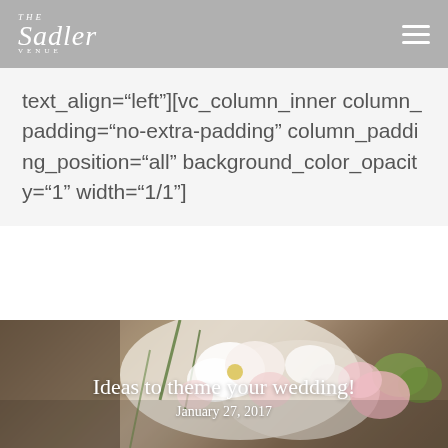The Sadler Venue — navigation header with hamburger menu
text_align="left"][vc_column_inner column_padding="no-extra-padding" column_padding_position="all" background_color_opacity="1" width="1/1"]
[Figure (photo): Close-up photo of a bridal bouquet with white and pink roses, lisianthus, and green flowers]
Ideas to theme your wedding!
January 27, 2017